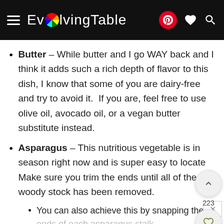EvolvingTable
Butter – While butter and I go WAY back and I think it adds such a rich depth of flavor to this dish, I know that some of you are dairy-free and try to avoid it.  If you are, feel free to use olive oil, avocado oil, or a vegan butter substitute instead.
Asparagus – This nutritious vegetable is in season right now and is super easy to locate Make sure you trim the ends until all of the woody stock has been removed.
You can also achieve this by snapping the ends of each asparagus stalk.